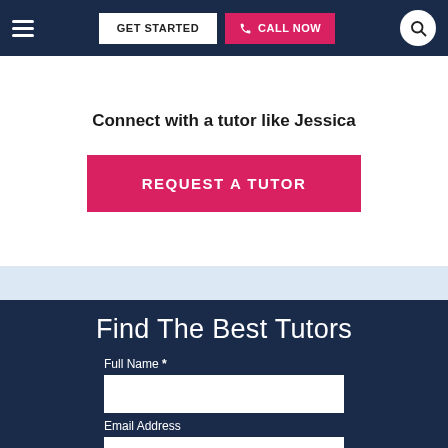GET STARTED | CALL NOW
Connect with a tutor like Jessica
REQUEST A TUTOR
Find The Best Tutors
Full Name *
Email Address
Phone Number *